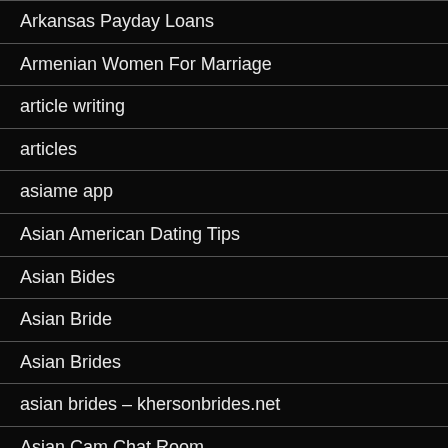Arkansas Payday Loans
Armenian Women For Marriage
article writing
articles
asiame app
Asian American Dating Tips
Asian Bides
Asian Bride
Asian Brides
asian brides – khersonbrides.net
Asian Cam Chat Room
Asian Cams Chat Room
Asian Dating